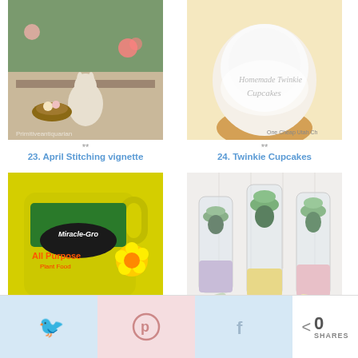[Figure (photo): April Stitching vignette - Easter themed table decoration with bunny figurines, nest, and eggs]
**
23. April Stitching vignette
[Figure (photo): Homemade Twinkie Cupcakes - cupcakes with white frosting and text overlay]
**
24. Twinkie Cupcakes
[Figure (photo): Miracle Gro All Purpose Plant Food yellow container]
**
25. Homemade Miracle Grow Concentrate!
[Figure (photo): Three mason jars with succulents, painted in pastel colors at the bottom]
*Likes: (1)*
26. Painted Mason Jar Succulent Planter